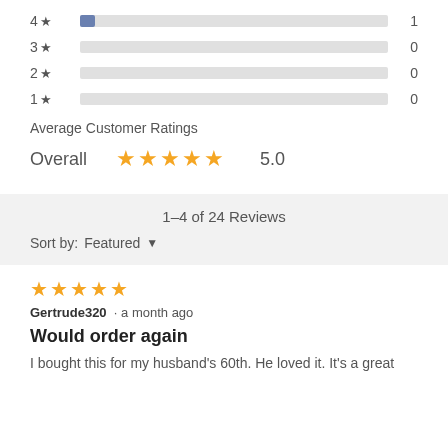[Figure (bar-chart): Star rating distribution]
Average Customer Ratings
Overall ★★★★★ 5.0
1–4 of 24 Reviews
Sort by: Featured ▼
[Figure (other): 5-star orange star rating for review]
Gertrude320 · a month ago
Would order again
I bought this for my husband's 60th. He loved it. It's a great